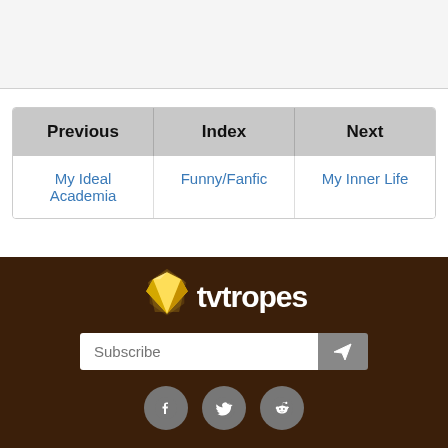| Previous | Index | Next |
| --- | --- | --- |
| My Ideal Academia | Funny/Fanfic | My Inner Life |
[Figure (logo): TV Tropes logo with yellow gem icon and white bold text on dark brown background]
Subscribe
[Figure (infographic): Social media icons: Facebook, Twitter, Reddit on dark brown background]